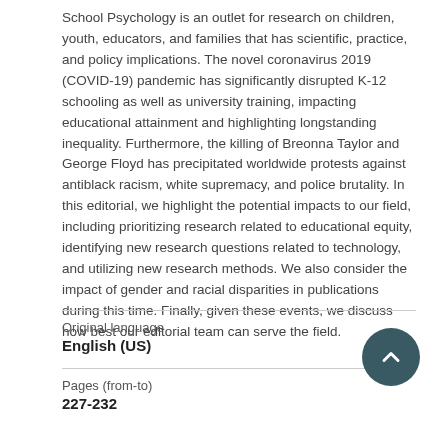School Psychology is an outlet for research on children, youth, educators, and families that has scientific, practice, and policy implications. The novel coronavirus 2019 (COVID-19) pandemic has significantly disrupted K-12 schooling as well as university training, impacting educational attainment and highlighting longstanding inequality. Furthermore, the killing of Breonna Taylor and George Floyd has precipitated worldwide protests against antiblack racism, white supremacy, and police brutality. In this editorial, we highlight the potential impacts to our field, including prioritizing research related to educational equity, identifying new research questions related to technology, and utilizing new research methods. We also consider the impact of gender and racial disparities in publications during this time. Finally, given these events, we discuss how best our editorial team can serve the field.
Original language
English (US)
Pages (from-to)
227-232